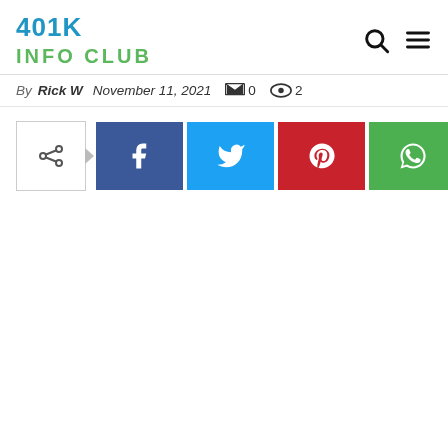401K INFO CLUB
By Rick W   November 11, 2021   0   2
[Figure (other): Social sharing bar with share button, Facebook, Twitter, Pinterest, and WhatsApp buttons]